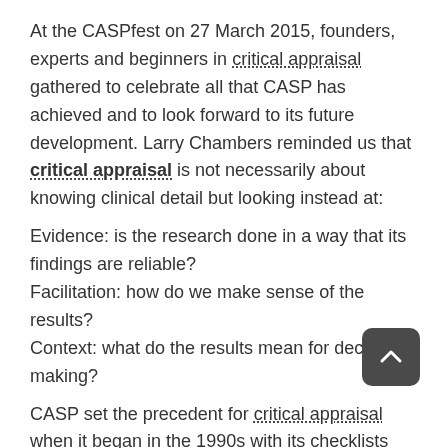At the CASPfest on 27 March 2015, founders, experts and beginners in critical appraisal gathered to celebrate all that CASP has achieved and to look forward to its future development. Larry Chambers reminded us that critical appraisal is not necessarily about knowing clinical detail but looking instead at:
Evidence: is the research done in a way that its findings are reliable?
Facilitation: how do we make sense of the results?
Context: what do the results mean for decision-making?
CASP set the precedent for critical appraisal when it began in the 1990s with its checklists and problem-based approach to learning. And because – as Richard